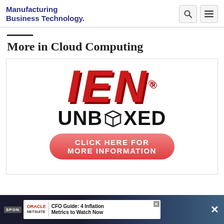Manufacturing Business Technology
More in Cloud Computing
[Figure (logo): IEN Unboxed logo with red italic IEN text and black UNBOXED text with box icon, plus a red rounded button reading CLICK HERE FOR MORE INFORMATION]
SPONSORED | ORACLE NETSUITE | CFO Guide: 4 Inflation Metrics to Watch Now